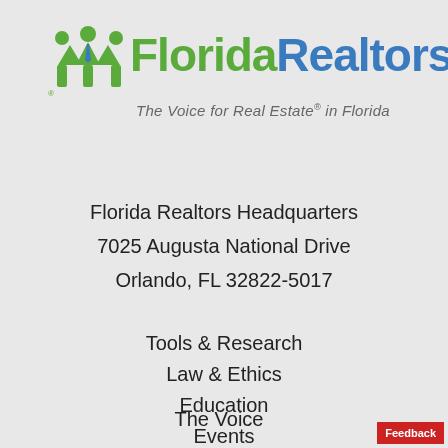[Figure (logo): Florida Realtors logo with green figure icons and blue text reading FloridaRealtors with registered trademark symbol]
The Voice for Real Estate® in Florida
Florida Realtors Headquarters
7025 Augusta National Drive
Orlando, FL 32822-5017
Tools & Research
Law & Ethics
Education
Events
News & Media
Advocacy
The Voice
Feedback